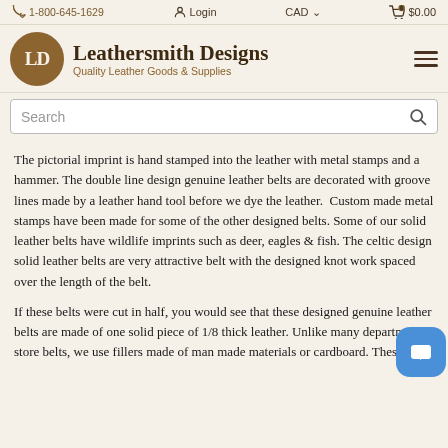1-800-645-1629  Login  CAD  $0.00
[Figure (logo): Leathersmith Designs logo: circular brown badge with 'LD' initials, beside bold text 'Leathersmith Designs' and subtitle 'Quality Leather Goods & Supplies']
[Figure (other): Search bar with placeholder text 'Search' and magnifying glass icon]
The pictorial imprint is hand stamped into the leather with metal stamps and a hammer. The double line design genuine leather belts are decorated with groove lines made by a leather hand tool before we dye the leather.  Custom made metal stamps have been made for some of the other designed belts.  Some of our solid leather belts have wildlife imprints such as deer, eagles & fish. The celtic design solid leather belts are very attractive belt with the designed knot work spaced over the length of the belt.
If these belts were cut in half, you would see that these designed genuine leather belts are made of one solid piece of 1/8 thick leather. Unlike many department store belts, we use fillers made of man made materials or cardboard. These